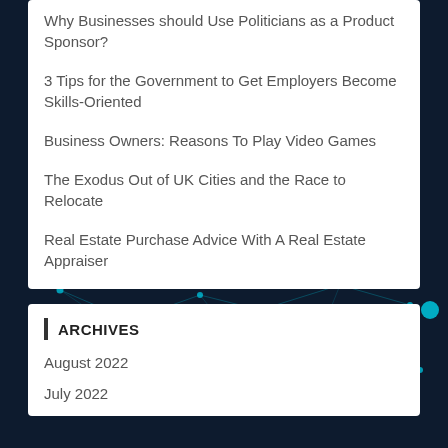Why Businesses should Use Politicians as a Product Sponsor?
3 Tips for the Government to Get Employers Become Skills-Oriented
Business Owners: Reasons To Play Video Games
The Exodus Out of UK Cities and the Race to Relocate
Real Estate Purchase Advice With A Real Estate Appraiser
ARCHIVES
August 2022
July 2022